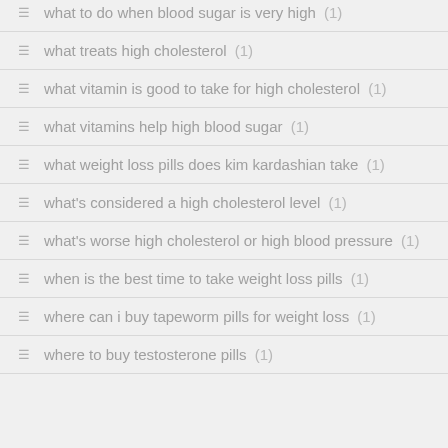what to do when blood sugar is very high (1)
what treats high cholesterol (1)
what vitamin is good to take for high cholesterol (1)
what vitamins help high blood sugar (1)
what weight loss pills does kim kardashian take (1)
what's considered a high cholesterol level (1)
what's worse high cholesterol or high blood pressure (1)
when is the best time to take weight loss pills (1)
where can i buy tapeworm pills for weight loss (1)
where to buy testosterone pills (1)